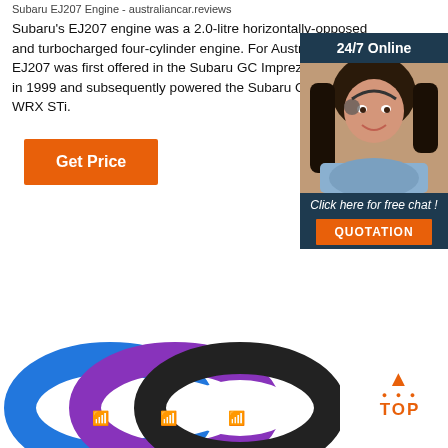Subaru EJ207 Engine - australiancar.reviews
Subaru's EJ207 engine was a 2.0-litre horizontally-opposed and turbocharged four-cylinder engine. For Australia, the EJ207 was first offered in the Subaru GC Impreza WRX STi in 1999 and subsequently powered the Subaru GD Impreza WRX STi.
[Figure (other): Orange 'Get Price' button]
[Figure (other): Advertisement banner with customer service representative photo, '24/7 Online' header, 'Click here for free chat!' text, and orange QUOTATION button]
[Figure (other): Three colorful fitness wristbands in blue, purple, and black arranged overlapping at the bottom of the page, with a 'TOP' badge in orange on the right]